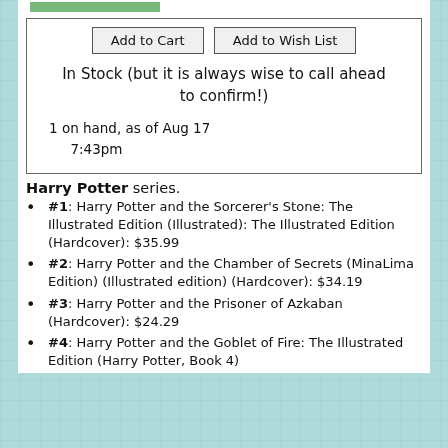[Figure (photo): Green book cover image strip at top]
Add to Cart | Add to Wish List
In Stock (but it is always wise to call ahead to confirm!)
1 on hand, as of Aug 17 7:43pm
Harry Potter series.
#1: Harry Potter and the Sorcerer's Stone: The Illustrated Edition (Illustrated): The Illustrated Edition (Hardcover): $35.99
#2: Harry Potter and the Chamber of Secrets (MinaLima Edition) (Illustrated edition) (Hardcover): $34.19
#3: Harry Potter and the Prisoner of Azkaban (Hardcover): $24.29
#4: Harry Potter and the Goblet of Fire: The Illustrated Edition (Harry Potter, Book 4)